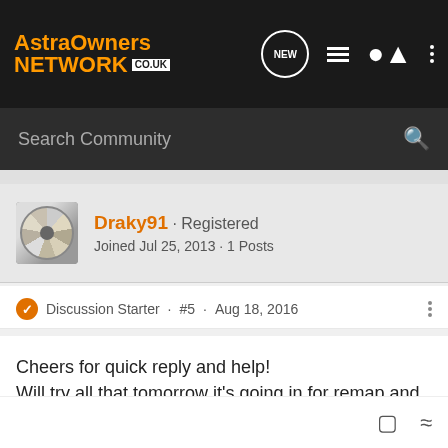[Figure (screenshot): AstraOwners Network logo in orange and white on dark background navigation bar with NEW chat icon, list icon, person icon, and vertical dots menu]
Search Community
Draky91 · Registered
Joined Jul 25, 2013 · 1 Posts
Discussion Starter · #5 · Aug 18, 2016
Cheers for quick reply and help!
Will try all that tomorrow it's going in for remap and egr delete with a duno run next week anyway